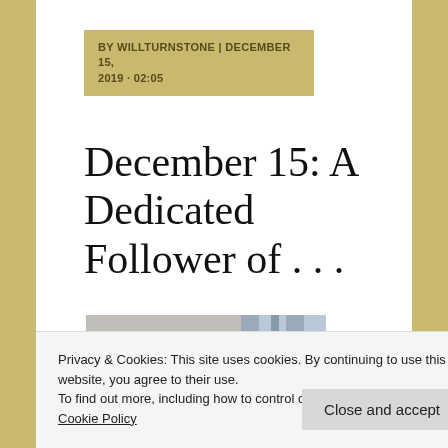BY WILLTURNSTONE | DECEMBER 15, 2019 · 02:05
December 15: A Dedicated Follower of . . .
[Figure (photo): Close-up photo of a stone or bronze bust/sculpture showing the head of a figure with curly hair, against a light blue architectural background with vertical pillar elements]
Privacy & Cookies: This site uses cookies. By continuing to use this website, you agree to their use.
To find out more, including how to control cookies, see here: Cookie Policy